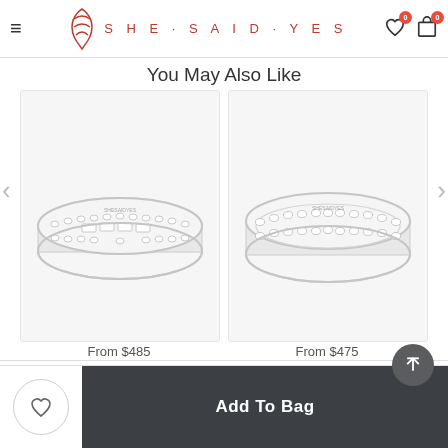SheSaidYes - Navigation header with logo, wishlist (0) and bag (0)
You May Also Like
[Figure (photo): Diamond baguette eternity band ring, silver/white gold. Price: From $485]
[Figure (photo): Double row round diamond eternity band ring, silver/white gold. Price: From $475]
From $485
From $475
DESCRIPTION
Add To Bag